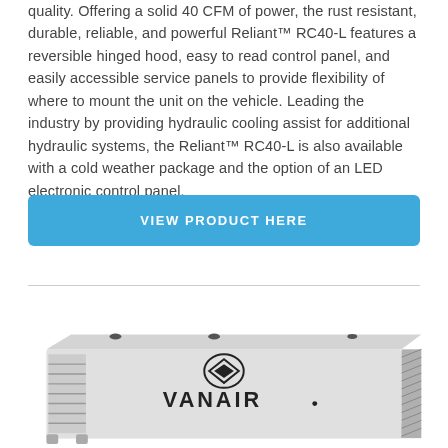quality. Offering a solid 40 CFM of power, the rust resistant, durable, reliable, and powerful Reliant™ RC40-L features a reversible hinged hood, easy to read control panel, and easily accessible service panels to provide flexibility of where to mount the unit on the vehicle. Leading the industry by providing hydraulic cooling assist for additional hydraulic systems, the Reliant™ RC40-L is also available with a cold weather package and the option of an LED electronic control panel.
VIEW PRODUCT HERE
[Figure (photo): Photo of a Vanair Reliant RC40-L compressor unit — a rectangular silver metal box with louvered vents on the left side, circular port openings on top, and the Vanair logo and wordmark visible on the front face. The unit sits at a slight 3/4 angle.]